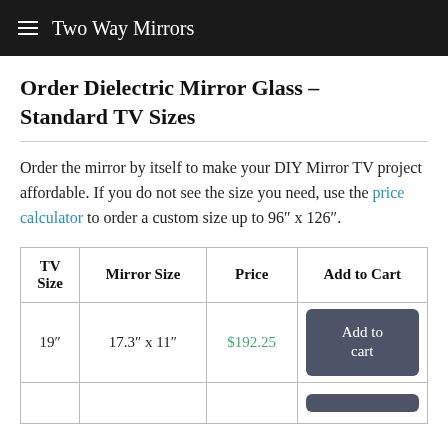Two Way Mirrors
Order Dielectric Mirror Glass – Standard TV Sizes
Order the mirror by itself to make your DIY Mirror TV project affordable. If you do not see the size you need, use the price calculator to order a custom size up to 96″ x 126″.
| TV Size | Mirror Size | Price | Add to Cart |
| --- | --- | --- | --- |
| 19" | 17.3" x 11" | $192.25 | Add to cart |